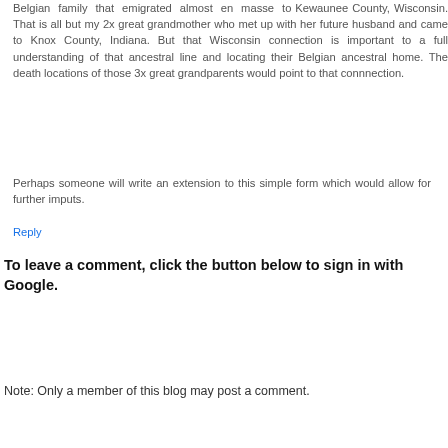Belgian family that emigrated almost en masse to Kewaunee County, Wisconsin. That is all but my 2x great grandmother who met up with her future husband and came to Knox County, Indiana. But that Wisconsin connection is important to a full understanding of that ancestral line and locating their Belgian ancestral home. The death locations of those 3x great grandparents would point to that connnection.
Perhaps someone will write an extension to this simple form which would allow for further imputs.
Reply
To leave a comment, click the button below to sign in with Google.
[Figure (other): Blue 'SIGN IN WITH GOOGLE' button]
Note: Only a member of this blog may post a comment.